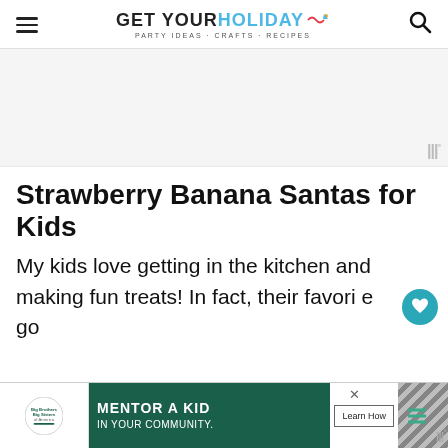GET YOUR HOLIDAY on — PARTY IDEAS · CRAFTS · RECIPES
[Figure (other): Advertisement placeholder block with Moat watermark in bottom right corner]
Strawberry Banana Santas for Kids
My kids love getting in the kitchen and making fun treats! In fact, their favorite go...
[Figure (other): Big Brothers Big Sisters advertisement banner: MENTOR A KID IN YOUR COMMUNITY. Learn How button.]